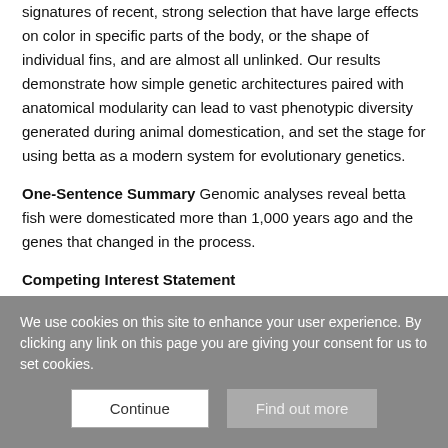signatures of recent, strong selection that have large effects on color in specific parts of the body, or the shape of individual fins, and are almost all unlinked. Our results demonstrate how simple genetic architectures paired with anatomical modularity can lead to vast phenotypic diversity generated during animal domestication, and set the stage for using betta as a modern system for evolutionary genetics.
One-Sentence Summary Genomic analyses reveal betta fish were domesticated more than 1,000 years ago and the genes that changed in the process.
Competing Interest Statement
We use cookies on this site to enhance your user experience. By clicking any link on this page you are giving your consent for us to set cookies.